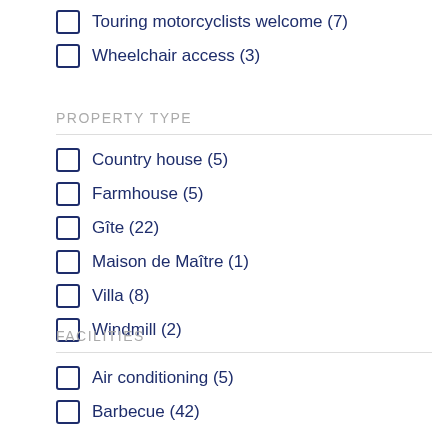Touring motorcyclists welcome (7)
Wheelchair access (3)
PROPERTY TYPE
Country house (5)
Farmhouse (5)
Gîte (22)
Maison de Maître (1)
Villa (8)
Windmill (2)
FACILITIES
Air conditioning (5)
Barbecue (42)